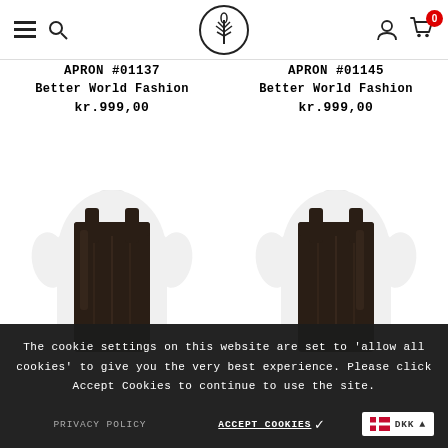Navigation header with hamburger menu, search icon, brand logo, user icon, and cart with 0 items
APRON #01137
Better World Fashion
kr.999,00
APRON #01145
Better World Fashion
kr.999,00
[Figure (photo): White mannequin torso wearing a dark brown/black leather apron over a white t-shirt, product APRON #01137]
[Figure (photo): White mannequin torso wearing a dark brown/black leather apron over a white t-shirt, product APRON #01145]
The cookie settings on this website are set to 'allow all cookies' to give you the very best experience. Please click Accept Cookies to continue to use the site.
PRIVACY POLICY
ACCEPT COOKIES
DKK